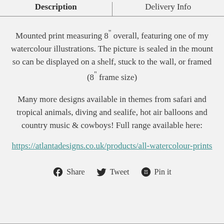Description | Delivery Info
Mounted print measuring 8″ overall, featuring one of my watercolour illustrations. The picture is sealed in the mount so can be displayed on a shelf, stuck to the wall, or framed (8″ frame size)
Many more designs available in themes from safari and tropical animals, diving and sealife, hot air balloons and country music & cowboys! Full range available here:
https://atlantadesigns.co.uk/products/all-watercolour-prints
Share   Tweet   Pin it